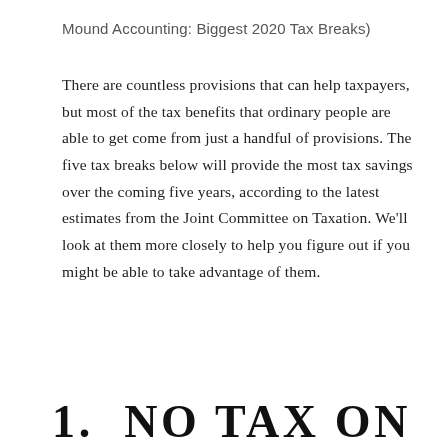Mound Accounting: Biggest 2020 Tax Breaks)
There are countless provisions that can help taxpayers, but most of the tax benefits that ordinary people are able to get come from just a handful of provisions. The five tax breaks below will provide the most tax savings over the coming five years, according to the latest estimates from the Joint Committee on Taxation. We'll look at them more closely to help you figure out if you might be able to take advantage of them.
1.  NO TAX ON